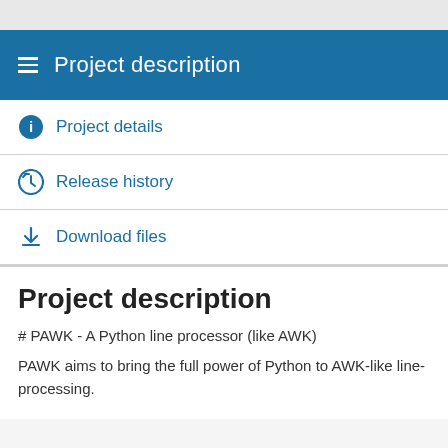Project description
Project details
Release history
Download files
Project description
# PAWK - A Python line processor (like AWK)
PAWK aims to bring the full power of Python to AWK-like line-processing.